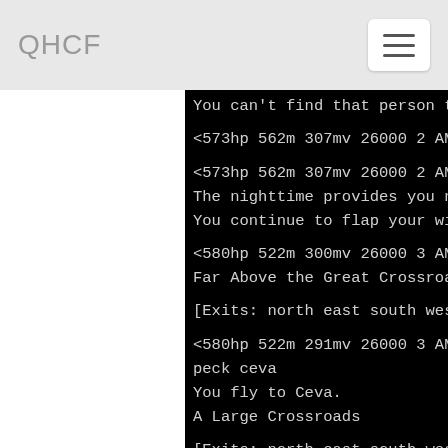QHCF
You can't find that person to fly to them.

<573hp 562m 307mv 26000 2 AM> They aren't he

<573hp 562m 307mv 26000 2 AM>
The nighttime provides you nocturnal stealth
You continue to flap your wings.

<580hp 522m 300mv 26000 3 AM> s
Far Above the Great Crossroads

[Exits: north east south west down]

<580hp 522m 291mv 26000 3 AM> flyto ceva
peck ceva
You fly to Ceva.
A Large Crossroads

[Exits: north east south west]
    A sign points north towards Voralian Ci